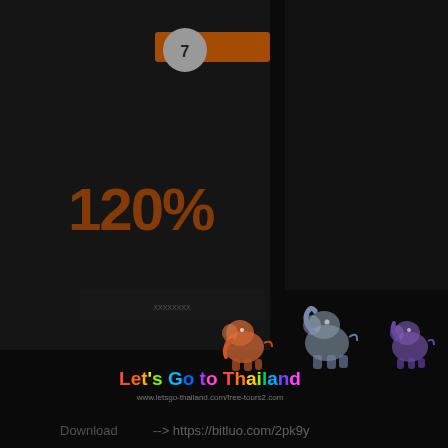[Figure (photo): Dark promotional image showing a product box with '120%' text in orange/red, three cartoon elephant icons (orange, blue-grey, purple), colorful rainbow-style 'Let's Go to Thailand' logo text, a subtitle URL, and a download link at the bottom. Background is very dark/near-black.]
Let's Go to Thailand
www.letsgo-thailand.com
Download --> https://bitluo.com/2pk9y